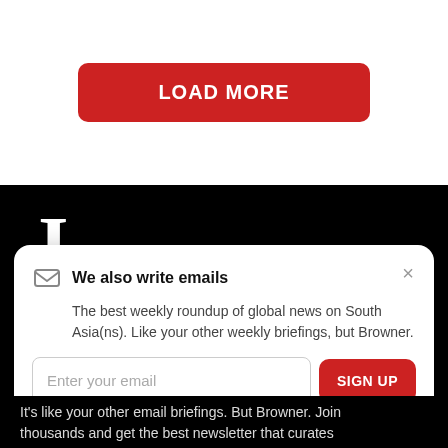LOAD MORE
[Figure (logo): Large white letter J on black background]
We also write emails
The best weekly roundup of global news on South Asia(ns). Like your other weekly briefings, but Browner.
Enter your email
SIGN UP
It's like your other email briefings. But Browner. Join thousands and get the best newsletter that curates